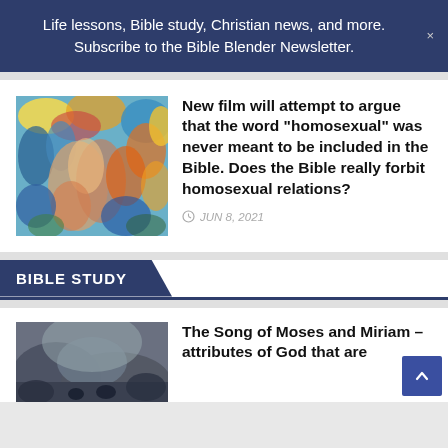Life lessons, Bible study, Christian news, and more. Subscribe to the Bible Blender Newsletter.
New film will attempt to argue that the word “homosexual” was never meant to be included in the Bible. Does the Bible really forbit homosexual relations?
JUN 8, 2021
BIBLE STUDY
The Song of Moses and Miriam – attributes of God that are